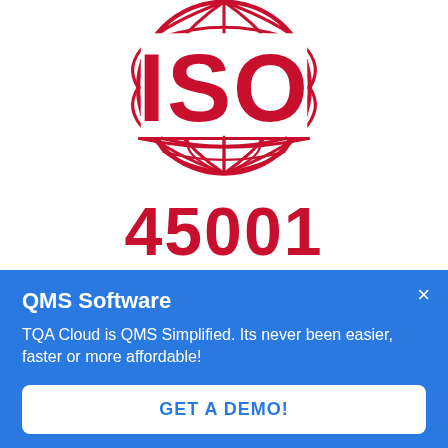[Figure (logo): ISO 45001 logo: large red globe graphic with meridian and latitude lines, bold red 'ISO' text overlaid on the globe, and red text '45001' below]
QMS Software
TQA Cloud is QMS Simplified. Its never been easier, faster or more affordable!
GET A DEMO!